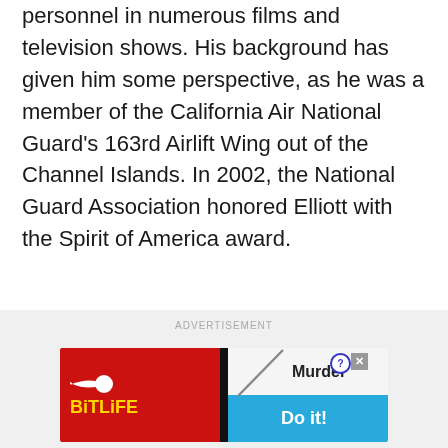personnel in numerous films and television shows. His background has given him some perspective, as he was a member of the California Air National Guard's 163rd Airlift Wing out of the Channel Islands. In 2002, the National Guard Association honored Elliott with the Spirit of America award.
[Figure (other): Advertisement banner for BitLife mobile game featuring red background with sperm logo and yellow BitLife text on left, and 'Murder Do it!' text on right with blue button]